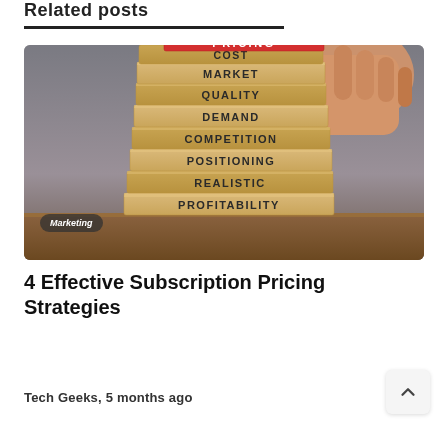Related posts
[Figure (photo): A hand placing a red block labeled PRICING on top of a stack of wooden blocks labeled COST, MARKET, QUALITY, DEMAND, COMPETITION, POSITIONING, REALISTIC, PROFITABILITY. A 'Marketing' badge is in the lower left corner.]
4 Effective Subscription Pricing Strategies
Tech Geeks, 5 months ago